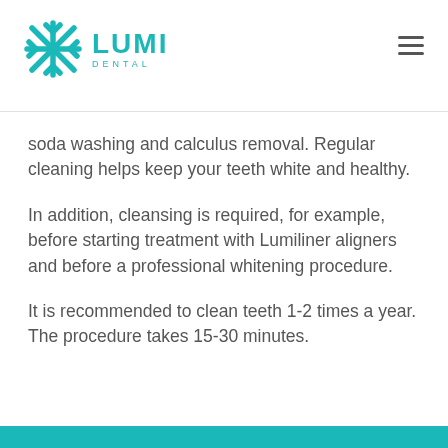LUMI DENTAL
soda washing and calculus removal. Regular cleaning helps keep your teeth white and healthy.
In addition, cleansing is required, for example, before starting treatment with Lumiliner aligners and before a professional whitening procedure.
It is recommended to clean teeth 1-2 times a year. The procedure takes 15-30 minutes.